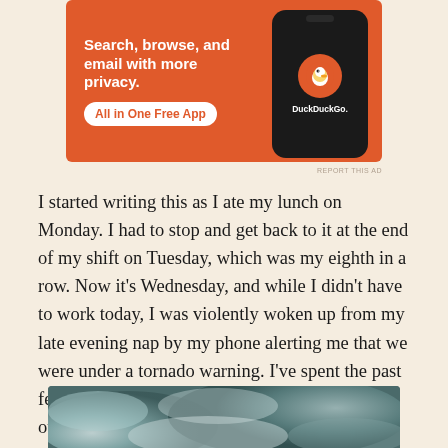[Figure (infographic): DuckDuckGo advertisement banner with orange background, text 'Search, browse, and email with more privacy. All in One Free App', and a smartphone showing the DuckDuckGo app icon]
REPORT THIS AD
I started writing this as I ate my lunch on Monday. I had to stop and get back to it at the end of my shift on Tuesday, which was my eighth in a row. Now it’s Wednesday, and while I didn’t have to work today, I was violently woken up from my late evening nap by my phone alerting me that we were under a tornado warning. I’ve spent the past few hours checking in on my employees and other friends in the path of the storms, and I’m exhausted.
[Figure (photo): Storm clouds photograph, dark and swirling gray-blue storm clouds]